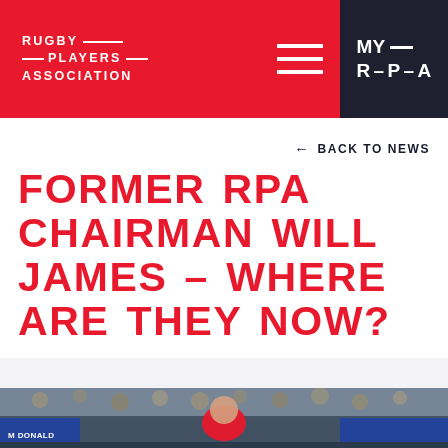RUGBY PLAYERS ASSOCIATION
← BACK TO NEWS
FORMER RPA CHAIRMAN WILL JAMES – WHERE ARE THEY NOW?
[Figure (photo): Rugby players in a scrum or tackle situation on the pitch, with a bald referee/official in a red jacket visible in the background crowd scene. Player jersey shows 'McDONALD' text.]